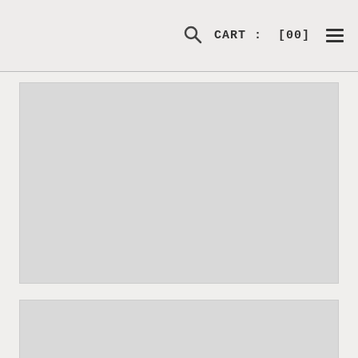🔍  CART: [00]  ≡
[Figure (photo): Large gray placeholder image block, first product or hero image area]
[Figure (photo): Gray placeholder image block, second product or content area, partially visible]